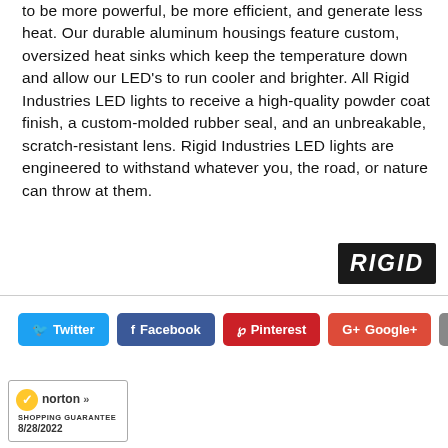to be more powerful, be more efficient, and generate less heat. Our durable aluminum housings feature custom, oversized heat sinks which keep the temperature down and allow our LED's to run cooler and brighter. All Rigid Industries LED lights to receive a high-quality powder coat finish, a custom-molded rubber seal, and an unbreakable, scratch-resistant lens. Rigid Industries LED lights are engineered to withstand whatever you, the road, or nature can throw at them.
[Figure (logo): RIGID Industries logo — white italic bold text on black rectangle background]
[Figure (infographic): Social sharing buttons row: Twitter (blue), Facebook (dark blue), Pinterest (red), Google+ (red-orange), Email (gray)]
[Figure (logo): Norton Shopping Guarantee badge with yellow checkmark, dated 8/28/2022]